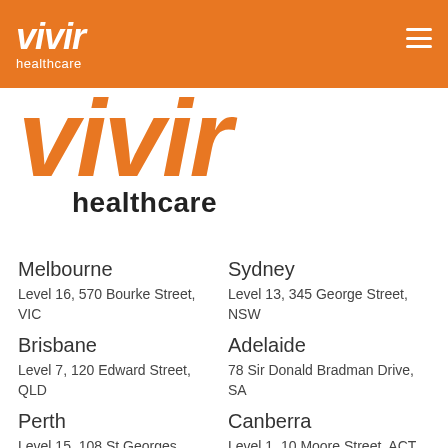[Figure (logo): Vivir Healthcare logo in white italic text on orange header bar with hamburger menu icon]
[Figure (logo): Large Vivir Healthcare logo with orange italic 'vivir' text and bold black 'healthcare' text]
Melbourne
Sydney
Level 16, 570 Bourke Street, VIC
Level 13, 345 George Street, NSW
Brisbane
Adelaide
Level 7, 120 Edward Street, QLD
78 Sir Donald Bradman Drive, SA
Perth
Canberra
Level 15, 108 St Georges Terrace, WA
Level 1, 10 Moore Street, ACT